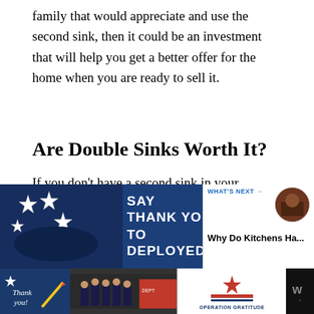family that would appreciate and use the second sink, then it could be an investment that will help you get a better offer for the home when you are ready to sell it.
Are Double Sinks Worth It?
If you don't have a second sink in your kitchen and have been thinking about getting one installed, then you will want to know the cost and how it could bring up the value of your house.
[Figure (screenshot): Advertisement banner: patriotic blue background with stars, text 'SAY THANK YOU TO DEPLOYED', with a circular photo thumbnail and WHAT'S NEXT panel showing 'Why Do Kitchens Ha...']
[Figure (screenshot): Bottom advertisement bar: dark background with 'Thank you!' handwritten text, firefighters photo, Operation Gratitude logo, and weather widget.]